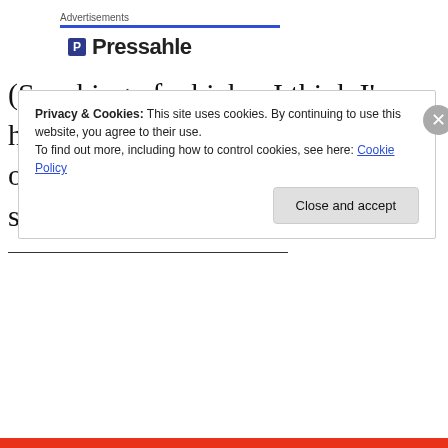Advertisements
[Figure (logo): Pressable logo with blue square icon and bold text]
(Speaking of which…I think I'm hungry now, the dishes are piling out of the sink, and I think my smartphone is buzzing…)
Privacy & Cookies: This site uses cookies. By continuing to use this website, you agree to their use.
To find out more, including how to control cookies, see here: Cookie Policy
Close and accept